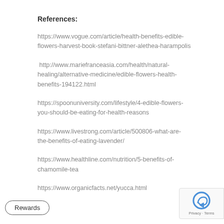References:
https://www.vogue.com/article/health-benefits-edible-flowers-harvest-book-stefani-bittner-alethea-harampolis
http://www.mariefranceasia.com/health/natural-healing/alternative-medicine/edible-flowers-health-benefits-194122.html
https://spoonuniversity.com/lifestyle/4-edible-flowers-you-should-be-eating-for-health-reasons
https://www.livestrong.com/article/500806-what-are-the-benefits-of-eating-lavender/
https://www.healthline.com/nutrition/5-benefits-of-chamomile-tea
https://www.organicfacts.net/yucca.html